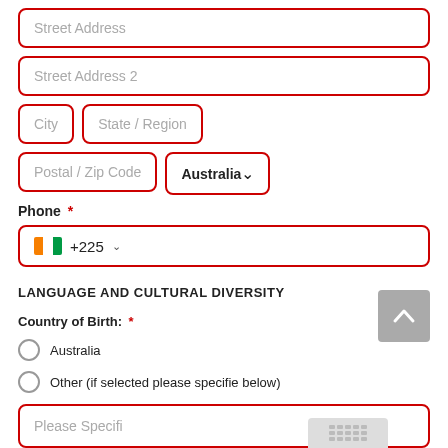Street Address
Street Address 2
City
State / Region
Postal / Zip Code
Australia
Phone *
+225
LANGUAGE AND CULTURAL DIVERSITY
Country of Birth: *
Australia
Other (if selected please specifie below)
Please Specifi